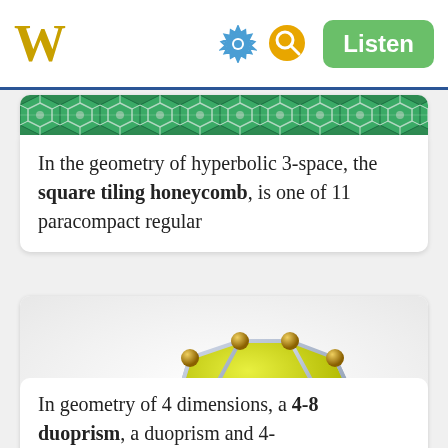W [Wikipedia logo] [gear icon] [search icon] Listen
[Figure (illustration): Partial view of a green and white decorative geometric tiling pattern, cropped at the top]
In the geometry of hyperbolic 3-space, the square tiling honeycomb, is one of 11 paracompact regular
[Figure (illustration): 3D rendering of a 4-8 duoprism geometric shape with yellow polygonal faces, gold spherical nodes, and silver cylindrical edges forming an octagonal prism-like structure]
In geometry of 4 dimensions, a 4-8 duoprism, a duoprism and 4-